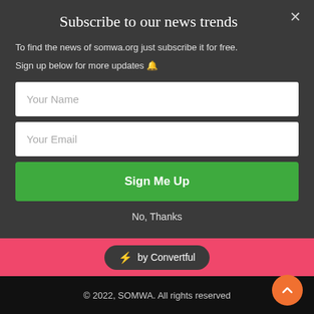Subscribe to our news trends
To find the news of somwa.org just subscribe it for free.
Sign up below for more updates 🔔
[Figure (other): Text input field with placeholder 'Your Name']
[Figure (other): Text input field with placeholder 'Your Email']
[Figure (other): Green button labeled 'Sign Me Up']
No, Thanks
[Figure (other): Pink banner with '⚡ by Convertful' badge]
© 2022, SOMWA. All rights reserved